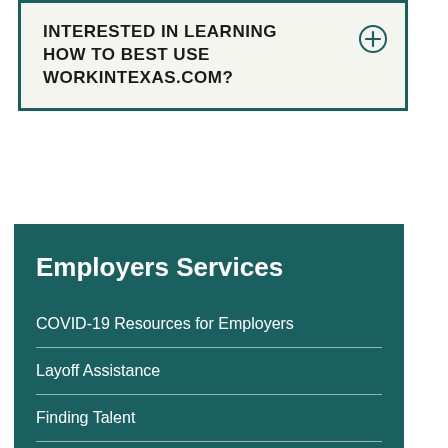INTERESTED IN LEARNING HOW TO BEST USE WORKINTEXAS.COM?
Employers Services
COVID-19 Resources for Employers
Layoff Assistance
Finding Talent